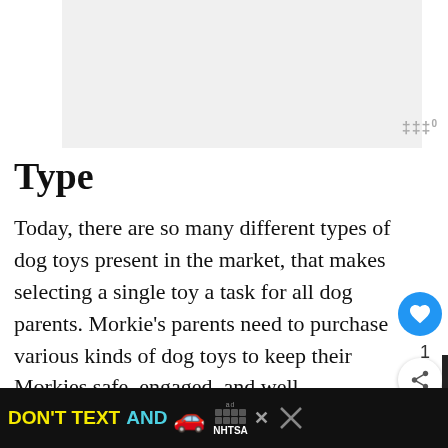[Figure (other): Gray placeholder/advertisement area at top of page]
Type
Today, there are so many different types of dog toys present in the market, that makes selecting a single toy a task for all dog parents. Morkie's parents need to purchase various kinds of dog toys to keep their Morkies safe, engaged, and well-stimulated.
Choose from these common types of toys, make playtime a time of fun and frolic for all dogs:
[Figure (other): NHTSA DON'T TEXT AND DRIVE advertisement banner at the bottom]
[Figure (other): What's Next panel showing 5 Best Dog Toys for...]